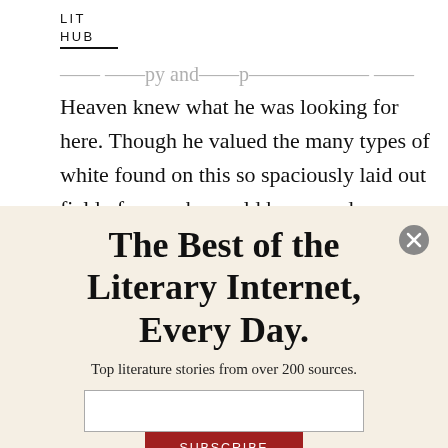LIT
HUB
Heaven knew what he was looking for here. Though he valued the many types of white found on this so spaciously laid out field of snow, he could have used a human soul by his side now, perhaps for the first time in
The Best of the Literary Internet, Every Day.
Top literature stories from over 200 sources.